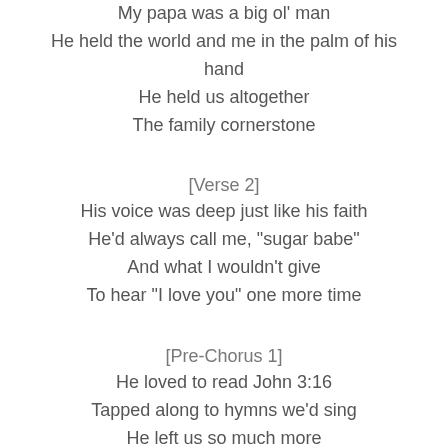My papa was a big ol' man
He held the world and me in the palm of his hand
He held us altogether
The family cornerstone
[Verse 2]
His voice was deep just like his faith
He'd always call me, "sugar babe"
And what I wouldn't give
To hear "I love you" one more time
[Pre-Chorus 1]
He loved to read John 3:16
Tapped along to hymns we'd sing
He left us so much more
Than earthly things